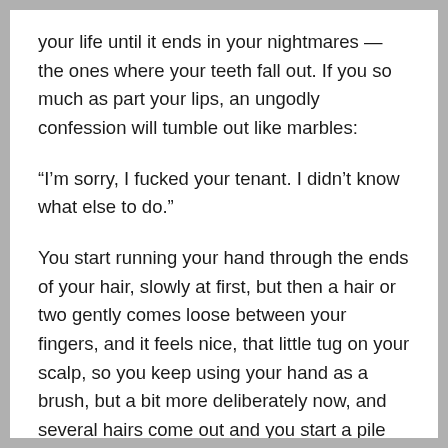your life until it ends in your nightmares — the ones where your teeth fall out. If you so much as part your lips, an ungodly confession will tumble out like marbles:
“I’m sorry, I fucked your tenant. I didn’t know what else to do.”
You start running your hand through the ends of your hair, slowly at first, but then a hair or two gently comes loose between your fingers, and it feels nice, that little tug on your scalp, so you keep using your hand as a brush, but a bit more deliberately now, and several hairs come out and you start a pile on your lap and it looks like a haystack and you comb harder and harder.